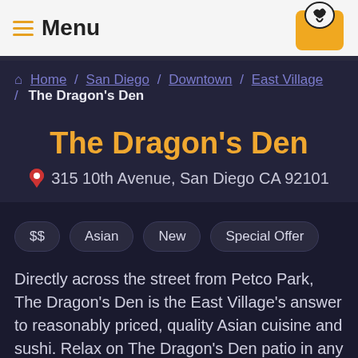Menu
Home / San Diego / Downtown / East Village / The Dragon's Den
The Dragon's Den
315 10th Avenue, San Diego CA 92101
$$
Asian
New
Special Offer
Directly across the street from Petco Park, The Dragon’s Den is the East Village’s answer to reasonably priced, quality Asian cuisine and sushi. Relax on The Dragon’s Den patio in any of their